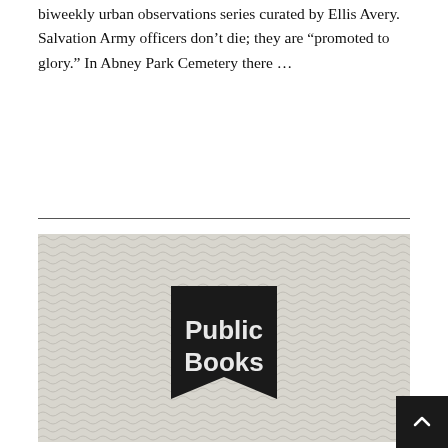biweekly urban observations series curated by Ellis Avery. Salvation Army officers don’t die; they are “promoted to glory.” In Abney Park Cemetery there …
[Figure (logo): Public Books logo: a dark banner/bookmark shape with 'Public Books' text in white, on a light grey wavy-patterned background]
THE GREAT [NATIONAL] NOVEL BY AMANDA CLAYBAUGH
When Curtis began publishing Open Prisim...